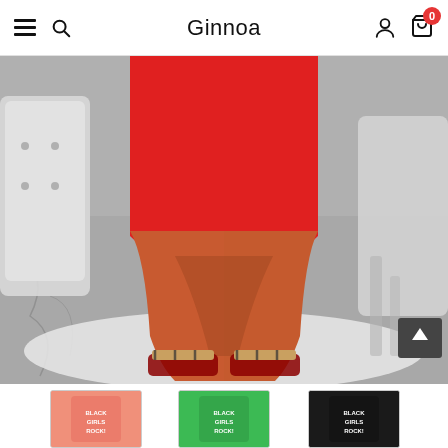Ginnoa
[Figure (photo): Close-up photo of a plus-size model wearing red biker shorts and plaid slide sandals, standing on a white furry rug with a grey marble floor and tufted white chair in the background.]
[Figure (photo): Thumbnail of model wearing pink t-shirt with 'Black Girls Rock!' text]
[Figure (photo): Thumbnail of model wearing green t-shirt with 'Black Girls Rock!' text]
[Figure (photo): Thumbnail of model wearing black t-shirt with 'Black Girls Rock!' text]